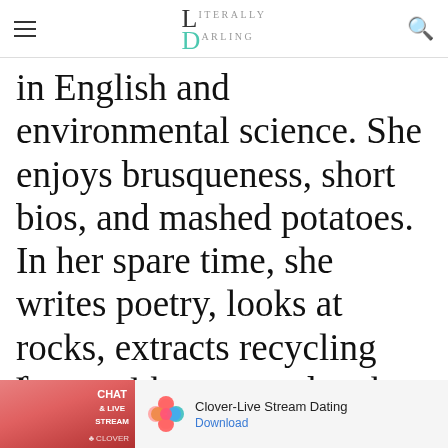Literally Darling
in English and environmental science. She enjoys brusqueness, short bios, and mashed potatoes. In her spare time, she writes poetry, looks at rocks, extracts recycling from trash cans, and makes lists. She wishes
Our site uses cookies. Learn more about our use of cookies: cookie policy
I ACCEPT USE OF COOKIES
[Figure (screenshot): Advertisement for Clover-Live Stream Dating app with chat and live stream text, Clover logo, and Download button]